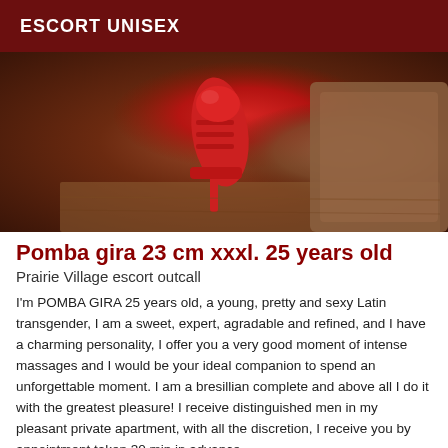ESCORT UNISEX
[Figure (photo): Photo of a red high-heel platform shoe on a wooden surface with a brown suede jacket visible in the background]
Pomba gira 23 cm xxxl. 25 years old
Prairie Village escort outcall
I'm POMBA GIRA 25 years old, a young, pretty and sexy Latin transgender, I am a sweet, expert, agradable and refined, and I have a charming personality, I offer you a very good moment of intense massages and I would be your ideal companion to spend an unforgettable moment. I am a bresillian complete and above all I do it with the greatest pleasure! I receive distinguished men in my pleasant private apartment, with all the discretion, I receive you by appointment taken 30 min in advance